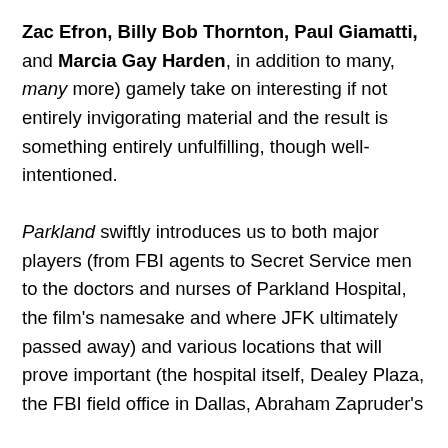Zac Efron, Billy Bob Thornton, Paul Giamatti, and Marcia Gay Harden, in addition to many, many more) gamely take on interesting if not entirely invigorating material and the result is something entirely unfulfilling, though well-intentioned.
Parkland swiftly introduces us to both major players (from FBI agents to Secret Service men to the doctors and nurses of Parkland Hospital, the film's namesake and where JFK ultimately passed away) and various locations that will prove important (the hospital itself, Dealey Plaza, the FBI field office in Dallas, Abraham Zapruder's